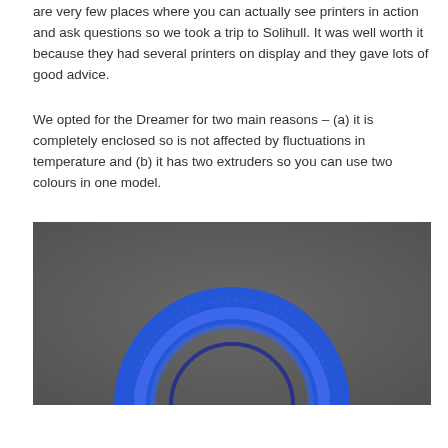are very few places where you can actually see printers in action and ask questions so we took a trip to Solihull. It was well worth it because they had several printers on display and they gave lots of good advice.
We opted for the Dreamer for two main reasons – (a) it is completely enclosed so is not affected by fluctuations in temperature and (b) it has two extruders so you can use two colours in one model.
[Figure (photo): A photograph showing a dark gray/charcoal background with the top portion of a blue 3D-printed object (appears to be a ring or circular shape) visible at the bottom center of the image.]